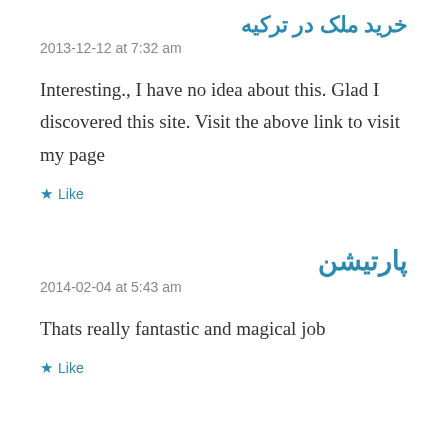خرید ملک در ترکیه
2013-12-12 at 7:32 am
Interesting., I have no idea about this. Glad I discovered this site. Visit the above link to visit my page
★ Like
پارتیشن
2014-02-04 at 5:43 am
Thats really fantastic and magical job
★ Like